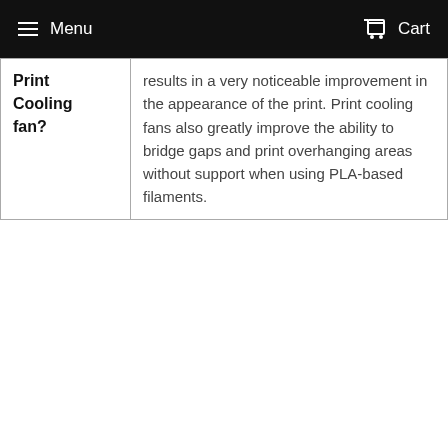Menu | Cart
| Print Cooling fan? | Description |
| --- | --- |
| Print Cooling fan? | results in a very noticeable improvement in the appearance of the print. Print cooling fans also greatly improve the ability to bridge gaps and print overhanging areas without support when using PLA-based filaments. |
Safety Data Sheet
Share | Tweet | Pin it
WE ALSO RECOMMEND